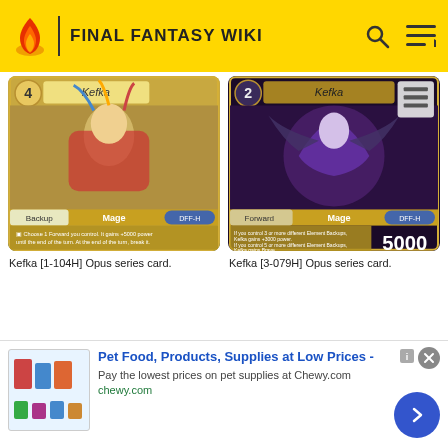FINAL FANTASY WIKI
[Figure (photo): Kefka [1-104H] Opus series trading card showing Kefka in jester costume as Backup/Mage type]
Kefka [1-104H] Opus series card.
[Figure (photo): Kefka [3-079H] Opus series trading card showing Kefka as dark figure Forward/Mage type with 5000 power]
Kefka [3-079H] Opus series card.
[Figure (screenshot): Advertisement: Pet Food, Products, Supplies at Low Prices - chewy.com]